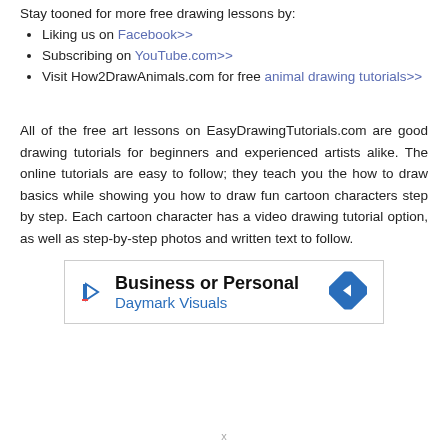Stay tooned for more free drawing lessons by:
Liking us on Facebook>>
Subscribing on YouTube.com>>
Visit How2DrawAnimals.com for free animal drawing tutorials>>
All of the free art lessons on EasyDrawingTutorials.com are good drawing tutorials for beginners and experienced artists alike. The online tutorials are easy to follow; they teach you the how to draw basics while showing you how to draw fun cartoon characters step by step. Each cartoon character has a video drawing tutorial option, as well as step-by-step photos and written text to follow.
[Figure (other): Advertisement banner for Daymark Visuals with text 'Business or Personal' and 'Daymark Visuals' with a blue arrow icon]